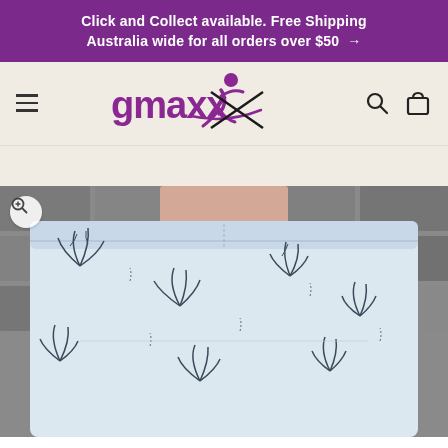Click and Collect available. Free Shipping Australia wide for all orders over $50 →
[Figure (logo): gmaxx logo with stylized running figure in purple/black]
[Figure (photo): Close-up of a white athletic skirt/skort with dark blue botanical leaf print pattern, worn by a model against a stone wall background. A zoom magnifier button is visible in the top left corner of the image.]